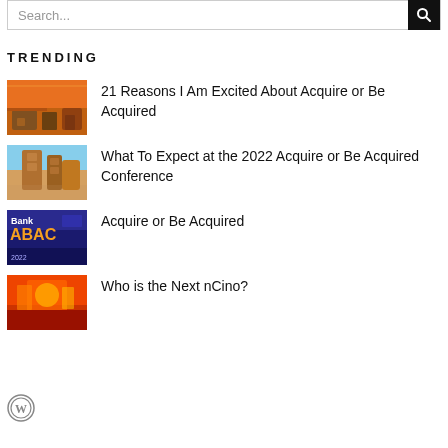TRENDING
21 Reasons I Am Excited About Acquire or Be Acquired
What To Expect at the 2022 Acquire or Be Acquired Conference
Acquire or Be Acquired
Who is the Next nCino?
[Figure (logo): WordPress logo (circle W icon)]